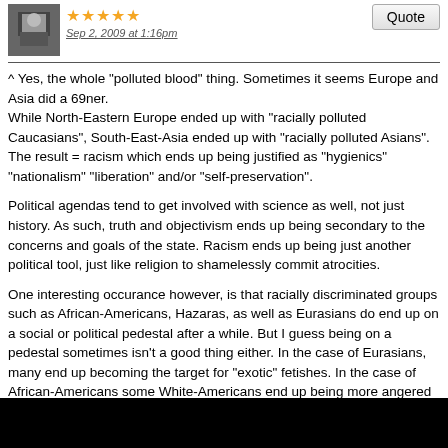Sep 2, 2009 at 1:16pm
^ Yes, the whole "polluted blood" thing. Sometimes it seems Europe and Asia did a 69ner.
While North-Eastern Europe ended up with "racially polluted Caucasians", South-East-Asia ended up with "racially polluted Asians". The result = racism which ends up being justified as "hygienics" "nationalism" "liberation" and/or "self-preservation".
Political agendas tend to get involved with science as well, not just history. As such, truth and objectivism ends up being secondary to the concerns and goals of the state. Racism ends up being just another political tool, just like religion to shamelessly commit atrocities.
One interesting occurance however, is that racially discriminated groups such as African-Americans, Hazaras, as well as Eurasians do end up on a social or political pedestal after a while. But I guess being on a pedestal sometimes isn't a good thing either. In the case of Eurasians, many end up becoming the target for "exotic" fetishes. In the case of African-Americans some White-Americans end up being more angered with African-Americans and consider such social favor due to "white guilt". As for Hazaras - the discrimination continues and perhaps only driven underground with the ethnic cleansing of Hazaras being unsuccessful thanks to the American invasion.